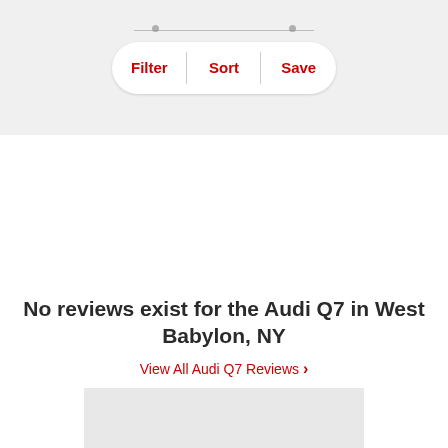[Figure (screenshot): Filter, Sort, Save toolbar with rounded pill shape on gray background]
No reviews exist for the Audi Q7 in West Babylon, NY
View All Audi Q7 Reviews >
[Figure (other): Gray advertisement box at the bottom of the page]